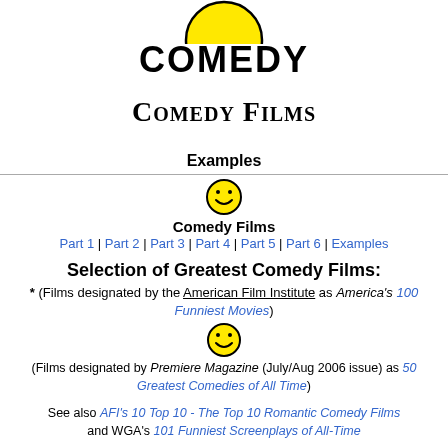[Figure (illustration): Partial yellow smiley face (top half) logo at top of page]
COMEDY
Comedy Films
Examples
[Figure (illustration): Yellow smiley face icon]
Comedy Films
Part 1 | Part 2 | Part 3 | Part 4 | Part 5 | Part 6 | Examples
Selection of Greatest Comedy Films:
* (Films designated by the American Film Institute as America's 100 Funniest Movies)
[Figure (illustration): Yellow smiley face icon]
(Films designated by Premiere Magazine (July/Aug 2006 issue) as 50 Greatest Comedies of All Time)
See also AFI's 10 Top 10 - The Top 10 Romantic Comedy Films and WGA's 101 Funniest Screenplays of All-Time